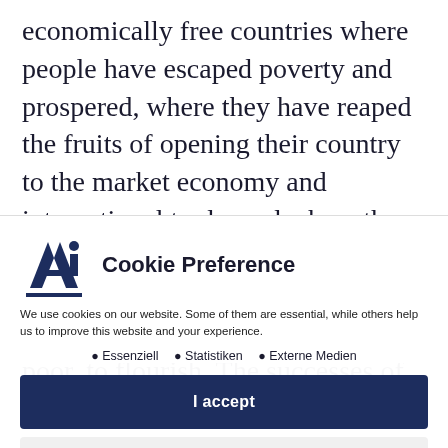economically free countries where people have escaped poverty and prospered, where they have reaped the fruits of opening their country to the market economy and international trade, and where the state has protected rights and property, thus allowing private enterprise, including that of the poor, to flourish. The successes of recent decades in
[Figure (other): Cookie preference dialog overlay with AI logo (stylized letter A with a dot), title 'Cookie Preference', description text, category options (Essenziell, Statistiken, Externe Medien), an 'I accept' button, 'Accept only essential cookies' button, 'Individual Privacy Preferences' link, and footer links (Cookie Details | Privacy Policy | Imprint)]